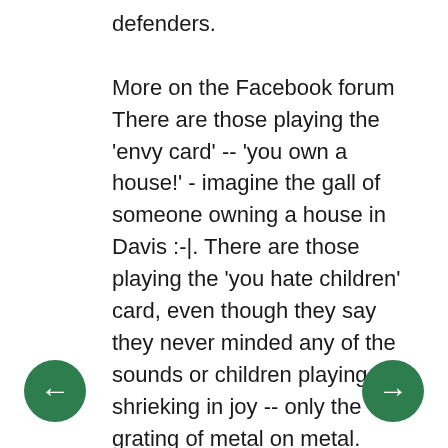defenders.

More on the Facebook forum There are those playing the 'envy card' -- 'you own a house!' - imagine the gall of someone owning a house in Davis :-|.  There are those playing the 'you hate children' card, even though they say they never minded any of the sounds or children playing or shrieking in joy -- only the grating of metal on metal.  There are those playing the 'you get special treatment' card, even though the Krovozas and others are getting shat on by asshole zip-line users/abusers and City government.  There's the 'you knew there was a park there when you bought your house' card, even though the Krovoza's pointed out repeatedly that they moved in next to a park and had no problem with that, the zip-line came